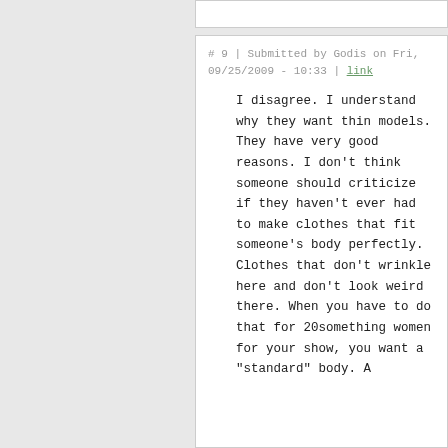# 9 | Submitted by Godis on Fri, 09/25/2009 - 10:33 | link
I disagree. I understand why they want thin models. They have very good reasons. I don't think someone should criticize if they haven't ever had to make clothes that fit someone's body perfectly. Clothes that don't wrinkle here and don't look weird there. When you have to do that for 20something women for your show, you want a "standard" body. A